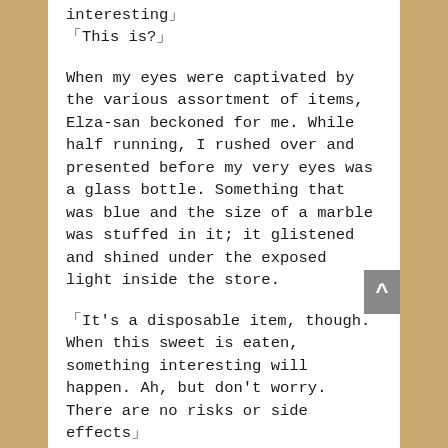interesting」
「This is?」
When my eyes were captivated by the various assortment of items, Elza-san beckoned for me. While half running, I rushed over and presented before my very eyes was a glass bottle. Something that was blue and the size of a marble was stuffed in it; it glistened and shined under the exposed light inside the store.
「It's a disposable item, though. When this sweet is eaten, something interesting will happen. Ah, but don't worry. There are no risks or side effects」
✿….. Something interesting?」
It appears the sphere was a sweet. Just for me to test it out, Elza-san shook the glass bottle and, with the marble of it rubbing against the wall of